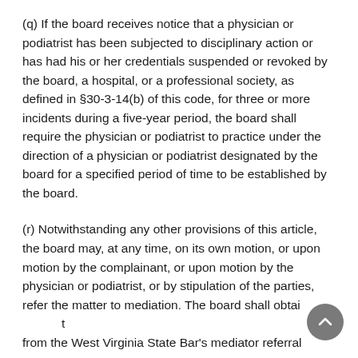(q) If the board receives notice that a physician or podiatrist has been subjected to disciplinary action or has had his or her credentials suspended or revoked by the board, a hospital, or a professional society, as defined in §30-3-14(b) of this code, for three or more incidents during a five-year period, the board shall require the physician or podiatrist to practice under the direction of a physician or podiatrist designated by the board for a specified period of time to be established by the board.
(r) Notwithstanding any other provisions of this article, the board may, at any time, on its own motion, or upon motion by the complainant, or upon motion by the physician or podiatrist, or by stipulation of the parties, refer the matter to mediation. The board shall obtain [cut off] from the West Virginia State Bar's mediator referral [cut off]